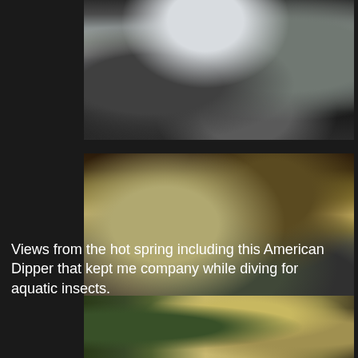[Figure (photo): Waterfall cascading over large rocks into a rocky pool, viewed from above]
[Figure (photo): Landscape view of a winding stream or river through rocky terrain with sparse vegetation, taken from an elevated position with large dark rocks in the foreground]
Views from the hot spring including this American Dipper that kept me company while diving for aquatic insects.
[Figure (photo): Cliff face or rocky canyon wall with some green vegetation visible on the left side]